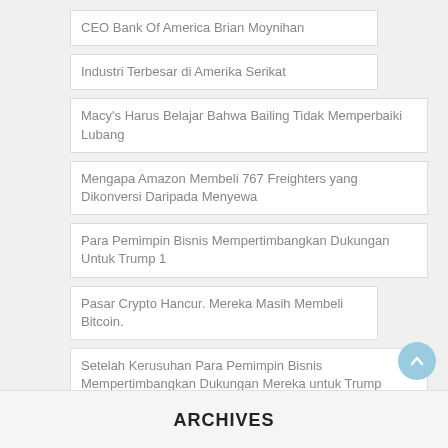CEO Bank Of America Brian Moynihan
Industri Terbesar di Amerika Serikat
Macy's Harus Belajar Bahwa Bailing Tidak Memperbaiki Lubang
Mengapa Amazon Membeli 767 Freighters yang Dikonversi Daripada Menyewa
Para Pemimpin Bisnis Mempertimbangkan Dukungan Untuk Trump 1
Pasar Crypto Hancur. Mereka Masih Membeli Bitcoin.
Setelah Kerusuhan Para Pemimpin Bisnis Mempertimbangkan Dukungan Mereka untuk Trump Bagian 2
Uber Kehilangan Hampir $ 2 Miliar Pada Investasi
WealthTech 2.0 Bank Of America
ARCHIVES